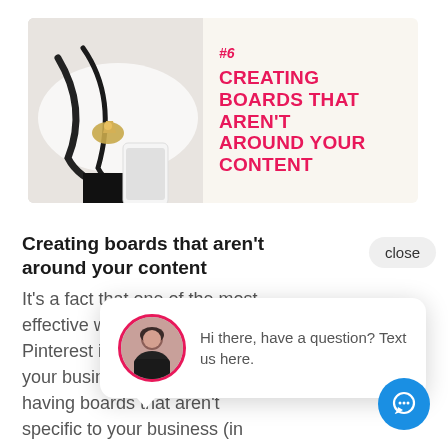[Figure (photo): Banner card with accessories photo (jewelry, phone, dark cables on light background) on left, and pink bold text title on cream background on right.]
Creating boards that aren't around your content
It's a f[act that one of the most] effect[ive ways to market on] Pintere[st is...] your b[usiness by] having boards that aren't specific to your business (in and around your business), then you could be hurting your [results on Pinterest]
[Figure (screenshot): Live chat popup widget showing a circular avatar of a woman and text: Hi there, have a question? Text us here.]